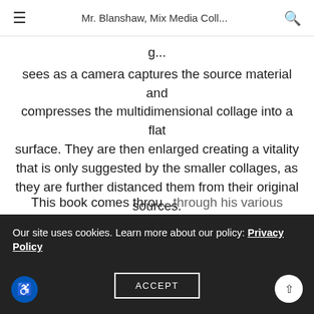Mr. Blanshaw, Mix Media Coll...
sees as a camera captures the source material and compresses the multidimensional collage into a flat surface. They are then enlarged creating a vitality that is only suggested by the smaller collages, as they are further distanced them from their original sources.
As the artist says, “When something small is enlarged, a new reality is revealed.”
This book ...
Our site uses cookies. Learn more about our policy: Privacy Policy